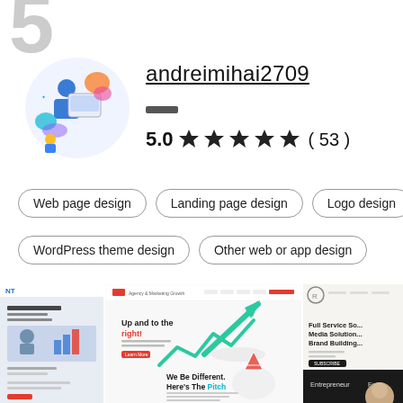5
[Figure (illustration): Colorful illustration of a person working at a computer with digital elements]
andreimihai2709
5.0 ★★★★★ ( 53 )
Web page design
Landing page design
Logo design
WordPress theme design
Other web or app design
[Figure (screenshot): Portfolio thumbnails showing web design samples including 'Up and to the right!' landing page, 'We Be Different. Here's The Pitch' page, and 'Full Service Social Media Solutions Brand Building' page]